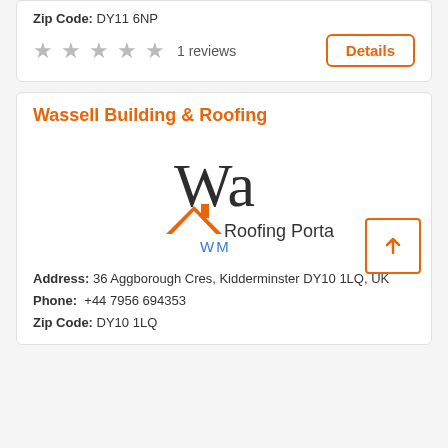Zip Code: DY11 6NP
1 reviews
Details
Wassell Building & Roofing
[Figure (logo): Roofing Portal logo with 'Wa' text, house/roof icon in orange, 'Roofing Portal' text, and 'WM' in blue]
Address: 36 Aggborough Cres, Kidderminster DY10 1LQ, UK
Phone: +44 7956 694353
Zip Code: DY10 1LQ